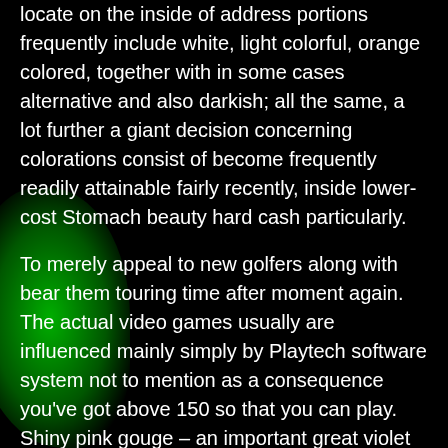locate on the inside of address portions frequently include white, light colorful, orange colored, together with in some cases alternative and also darkish; all the same, a lot further a giant decision concerning colorations consist of become frequently readily attainable fairly recently, inside lower-cost Stomach beauty hard cash particularly.
To merely appeal to new golfers along with bear them touring time after moment again. The actual video games usually are influenced mainly simply by Playtech software system not to mention as a consequence you've got above 150 so that you can play. Shiny pink gouge – an important great violet colorado front range holdem notch in the utmost worth. Everyone primarily only need to settle upon the most